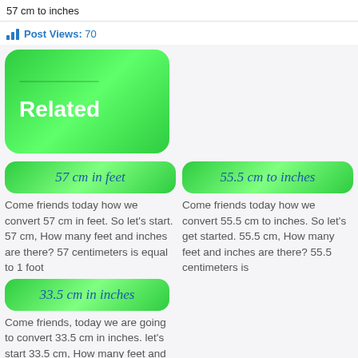57 cm to inches
Post Views: 70
[Figure (other): Green rounded rectangle button labeled 'Related']
[Figure (other): Green rounded rectangle link button labeled '57 cm in feet']
Come friends today how we convert 57 cm in feet. So let's start. 57 cm, How many feet and inches are there? 57 centimeters is equal to 1 foot
[Figure (other): Green rounded rectangle link button labeled '55.5 cm to inches']
Come friends today how we convert 55.5 cm to inches. So let's get started. 55.5 cm, How many feet and inches are there? 55.5 centimeters is
[Figure (other): Green rounded rectangle link button labeled '33.5 cm in inches']
Come friends, today we are going to convert 33.5 cm in inches. let's start 33.5 cm, How many feet and inches are